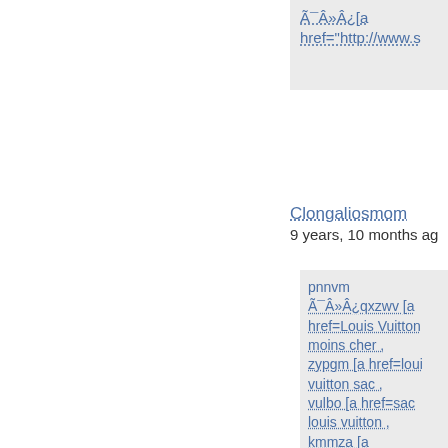Ã¯Â»Â¿[a href="http://www.s
Clongaliosmom
9 years, 10 months ag
pnnvm Ã¯Â»Â¿qxzwv [a href=Louis Vuitton moins cher , zypgm [a href=loui vuitton sac , vulbo [a href=sac louis vuitton , kmmza [a href=www.vuittonp